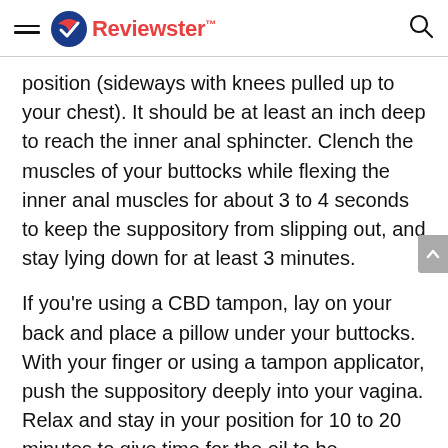Reviewster
position (sideways with knees pulled up to your chest). It should be at least an inch deep to reach the inner anal sphincter. Clench the muscles of your buttocks while flexing the inner anal muscles for about 3 to 4 seconds to keep the suppository from slipping out, and stay lying down for at least 3 minutes.
If you're using a CBD tampon, lay on your back and place a pillow under your buttocks. With your finger or using a tampon applicator, push the suppository deeply into your vagina. Relax and stay in your position for 10 to 20 minutes to give time for the oil to be absorbed.